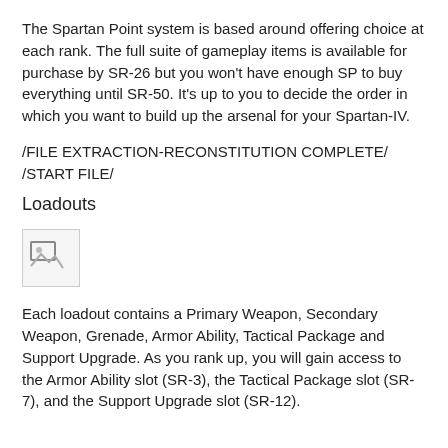The Spartan Point system is based around offering choice at each rank. The full suite of gameplay items is available for purchase by SR-26 but you won't have enough SP to buy everything until SR-50. It's up to you to decide the order in which you want to build up the arsenal for your Spartan-IV.
/FILE EXTRACTION-RECONSTITUTION COMPLETE/ /START FILE/
Loadouts
[Figure (photo): Broken/missing image placeholder icon]
Each loadout contains a Primary Weapon, Secondary Weapon, Grenade, Armor Ability, Tactical Package and Support Upgrade. As you rank up, you will gain access to the Armor Ability slot (SR-3), the Tactical Package slot (SR-7), and the Support Upgrade slot (SR-12).